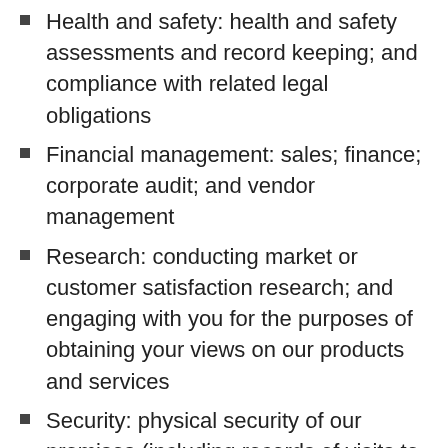Health and safety: health and safety assessments and record keeping; and compliance with related legal obligations
Financial management: sales; finance; corporate audit; and vendor management
Research: conducting market or customer satisfaction research; and engaging with you for the purposes of obtaining your views on our products and services
Security: physical security of our premises (including records of visits to our premises and CCTV recordings); and electronic security (including login records and access details, where you access our electronic systems)
Investigations: detecting, investigating and